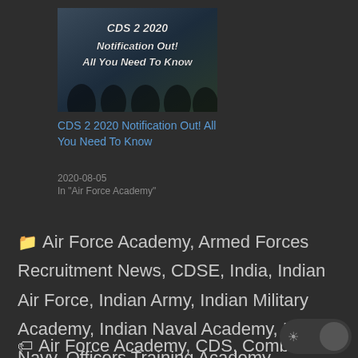[Figure (photo): Thumbnail image of soldiers with text overlay 'CDS 2 2020 Notification Out! All You Need To Know']
CDS 2 2020 Notification Out! All You Need To Know
2020-08-05
In "Air Force Academy"
Air Force Academy, Armed Forces Recruitment News, CDSE, India, Indian Air Force, Indian Army, Indian Military Academy, Indian Naval Academy, Indian Navy, Officers Training Academy
Air Force Academy, CDS, Combined Defence Services Exam, Indian Air F...